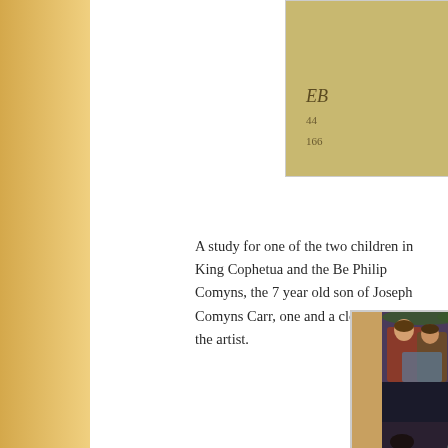[Figure (photo): A study/sketch on a textured golden-brown background with a monogram or initials 'EB' and numbers below, partially visible at top right of page]
A study for one of the two children in King Cophetua and the Be Philip Comyns, the 7 year old son of Joseph Comyns Carr, one and a close friend of the artist.
[Figure (photo): A Pre-Raphaelite style painting showing figures in an ornate interior setting; two figures embracing at top, and a woman in a grey dress seated below, likely King Cophetua and the Beggar Maid related work]